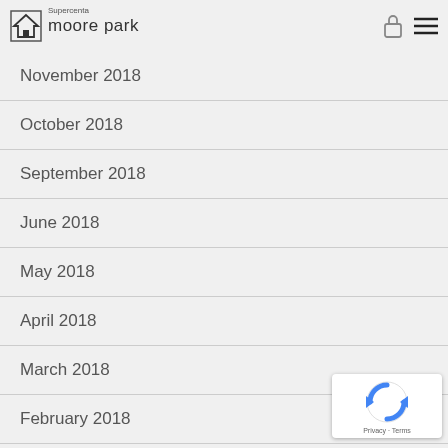Supercenta moore park
November 2018
October 2018
September 2018
June 2018
May 2018
April 2018
March 2018
February 2018
January 2018
December 2017
November 2017